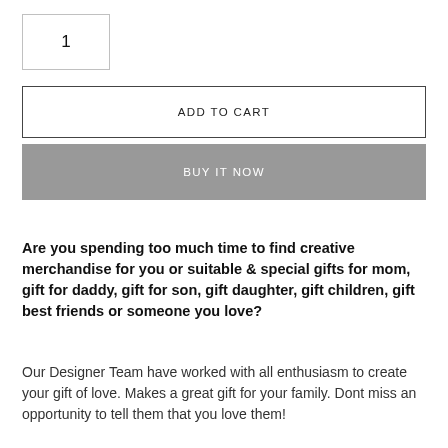1
ADD TO CART
BUY IT NOW
Are you spending too much time to find creative merchandise for you or suitable & special gifts for mom, gift for daddy, gift for son, gift daughter, gift children, gift best friends or someone you love?
Our Designer Team have worked with all enthusiasm to create your gift of love. Makes a great gift for your family. Dont miss an opportunity to tell them that you love them!